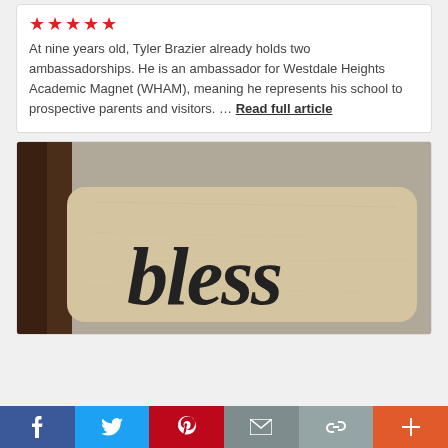★★★★★
At nine years old, Tyler Brazier already holds two ambassadorships. He is an ambassador for Westdale Heights Academic Magnet (WHAM), meaning he represents his school to prospective parents and visitors. … Read full article
[Figure (photo): A decorative tile or plaque with the word 'bless' written in black cursive script on a beige stone/marble surface, photographed on a wooden surface with a light wall in background.]
f  Twitter  Pinterest  Mail  Link  +